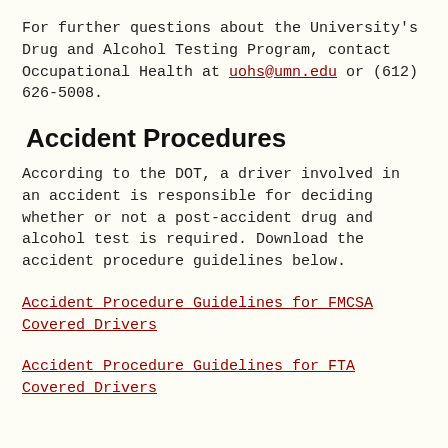For further questions about the University's Drug and Alcohol Testing Program, contact Occupational Health at uohs@umn.edu or (612) 626-5008.
Accident Procedures
According to the DOT, a driver involved in an accident is responsible for deciding whether or not a post-accident drug and alcohol test is required. Download the accident procedure guidelines below.
Accident Procedure Guidelines for FMCSA Covered Drivers
Accident Procedure Guidelines for FTA Covered Drivers